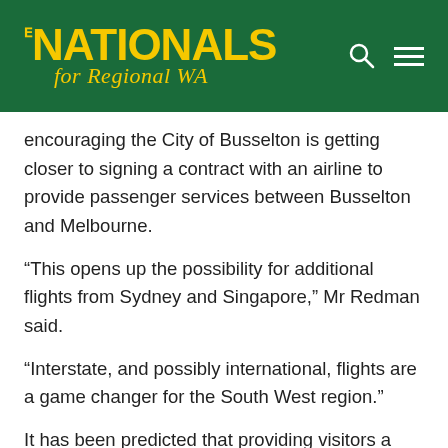THE NATIONALS for Regional WA
encouraging the City of Busselton is getting closer to signing a contract with an airline to provide passenger services between Busselton and Melbourne.
“This opens up the possibility for additional flights from Sydney and Singapore,” Mr Redman said.
“Interstate, and possibly international, flights are a game changer for the South West region.”
It has been predicted that providing visitors a direct gateway into one of WA’s top tourism destinations would pump an extra $11.4 million into the South West economy per year.  (WA Today Oct 5, 2018)